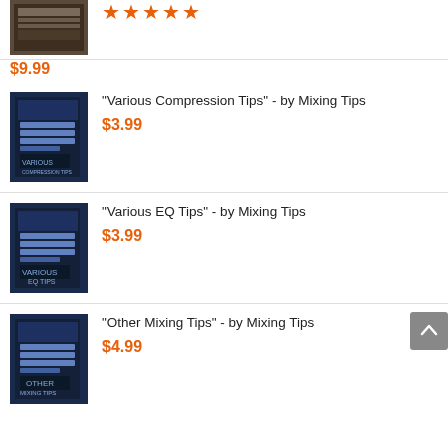[Figure (photo): Product box image for a music mixing tips book/video series, partially cropped at top]
★★★★★
$9.99
[Figure (photo): Product box image for 'Various Compression Tips' by Mixing Tips]
"Various Compression Tips" - by Mixing Tips
$3.99
[Figure (photo): Product box image for 'Various EQ Tips' by Mixing Tips]
"Various EQ Tips" - by Mixing Tips
$3.99
[Figure (photo): Product box image for 'Other Mixing Tips' by Mixing Tips]
"Other Mixing Tips" - by Mixing Tips
$4.99